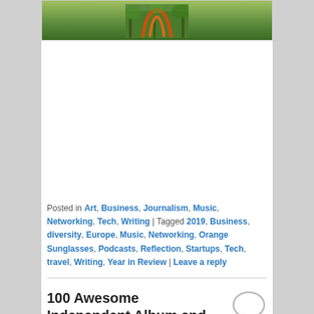[Figure (photo): Partial photo at top showing orange sculptural forms/artwork among green trees]
Posted in Art, Business, Journalism, Music, Networking, Tech, Writing | Tagged 2019, Business, diversity, Europe, Music, Networking, Orange Sunglasses, Podcasts, Reflection, Startups, Tech, travel, Writing, Year in Review | Leave a reply
100 Awesome Independent Album and